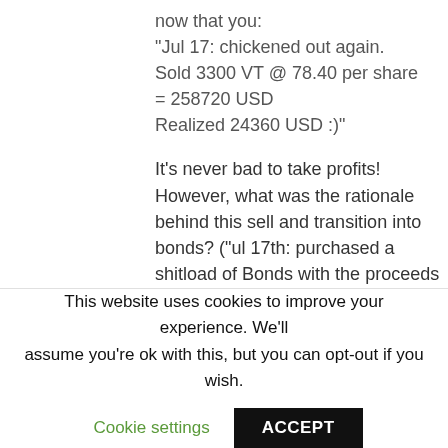now that you: "Jul 17: chickened out again. Sold 3300 VT @ 78.40 per share = 258720 USD Realized 24360 USD :)"
It's never bad to take profits! However, what was the rationale behind this sell and transition into bonds? ("ul 17th: purchased a shitload of Bonds with the proceeds of VT selloff. BUY 3260 BND @ 88.815 = 289536 USD.")
This website uses cookies to improve your experience. We'll assume you're ok with this, but you can opt-out if you wish.